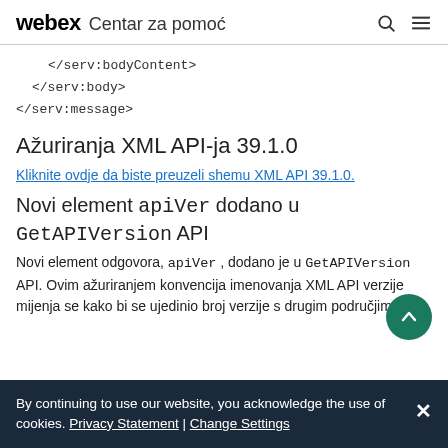webex Centar za pomoć
</serv:bodyContent>
    </serv:body>
</serv:message>
Ažuriranja XML API-ja 39.1.0
Kliknite ovdje da biste preuzeli shemu XML API 39.1.0.
Novi element apiVer dodano u GetAPIVersion API
Novi element odgovora, apiVer , dodano je u GetAPIVersion API. Ovim ažuriranjem konvencija imenovanja XML API verzije mijenja se kako bi se ujedinio broj verzije s drugim područjima
By continuing to use our website, you acknowledge the use of cookies. Privacy Statement | Change Settings